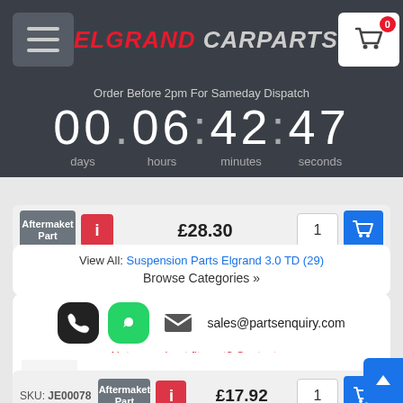ELGRAND CARPARTS
Order Before 2pm For Sameday Dispatch
00 : 06 : 42 : 47 days hours minutes seconds
Aftermarket Part  £28.30  1
View All: Suspension Parts Elgrand 3.0 TD (29)
Browse Categories »
sales@partsenquiry.com
Not sure about fitment? Contact us
Arm Bushing For Upper Lateral Control Rod
For Nissan Elgrand E50 ZD30DTTi 3.0 TD 1999-2001
SKU: JE00078  Aftermarket Part  £17.92  1